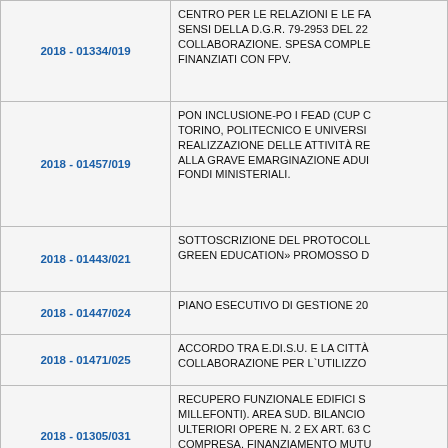| ID | Description |
| --- | --- |
| 2018 - 01334/019 | CENTRO PER LE RELAZIONI E LE FA... SENSI DELLA D.G.R. 79-2953 DEL 22... COLLABORAZIONE. SPESA COMPLE... FINANZIATI CON FPV. |
| 2018 - 01457/019 | PON INCLUSIONE-PO I FEAD (CUP C... TORINO, POLITECNICO E UNIVERSI... REALIZZAZIONE DELLE ATTIVITÀ RE... ALLA GRAVE EMARGINAZIONE ADUI... FONDI MINISTERIALI. |
| 2018 - 01443/021 | SOTTOSCRIZIONE DEL PROTOCOLL... GREEN EDUCATION» PROMOSSO D... |
| 2018 - 01447/024 | PIANO ESECUTIVO DI GESTIONE 20... |
| 2018 - 01471/025 | ACCORDO TRA E.DI.S.U. E LA CITTÀ... COLLABORAZIONE PER L`UTILIZZO... |
| 2018 - 01305/031 | RECUPERO FUNZIONALE EDIFICI S... MILLEFONTI). AREA SUD. BILANCIO... ULTERIORI OPERE N. 2 EX ART. 63 C... COMPRESA. FINANZIAMENTO MUTU... |
| 2018 - 01399/031 | MANUTENZIONE PER IL RIPRISTINO... DEGLI EDIFICI SCOLASTICI AREA N... EX ART. 63 C. 5 D.LGS. 50/2016. APR... |